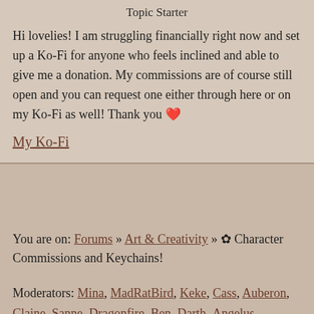Topic Starter
Hi lovelies! I am struggling financially right now and set up a Ko-Fi for anyone who feels inclined and able to give me a donation. My commissions are of course still open and you can request one either through here or on my Ko-Fi as well! Thank you 💗
My Ko-Fi
You are on: Forums » Art & Creativity » ✿ Character Commissions and Keychains!
Moderators: Mina, MadRatBird, Keke, Cass, Auberon, Claine, Sanne, Dragonfire, Ben, Darth_Angelus